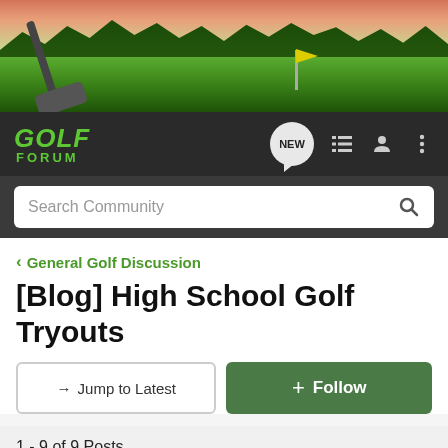[Figure (photo): Golf course banner image showing a golf club iron on green grass with trees and sunset sky in background]
[Figure (logo): Golf Forum logo with green italic text and nav icons including NEW bubble, list icon, user icon, and menu icon]
Search Community
< General Golf Discussion
[Blog] High School Golf Tryouts
→ Jump to Latest
+ Follow
1 - 9 of 9 Posts
Callaway_Purist · Registered
Joined Jul 27, 2006 · 12 Posts